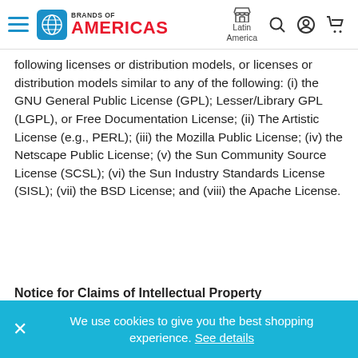Brands of Americas — Latin America
following licenses or distribution models, or licenses or distribution models similar to any of the following: (i) the GNU General Public License (GPL); Lesser/Library GPL (LGPL), or Free Documentation License; (ii) The Artistic License (e.g., PERL); (iii) the Mozilla Public License; (iv) the Netscape Public License; (v) the Sun Community Source License (SCSL); (vi) the Sun Industry Standards License (SISL); (vii) the BSD License; and (viii) the Apache License.
Notice for Claims of Intellectual Property
We use cookies to give you the best shopping experience. See details